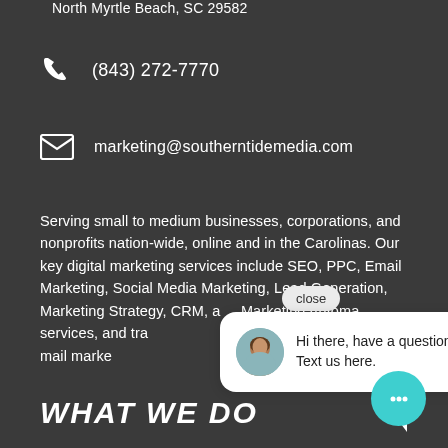North Myrtle Beach, SC 29582
(843) 272-7770
marketing@southerntidemedia.com
Serving small to medium businesses, corporations, and nonprofits nation-wide, online and in the Carolinas. Our key digital marketing services include SEO, PPC, Email Marketing, Social Media Marketing, Lead Generation, Marketing Strategy, CRM, and Marketing Automation services, and traditional marketing services, and direct mail marketing.
[Figure (screenshot): Chat popup overlay with avatar photo of a woman, text reading 'Hi there, have a question? Text us here.', a close button, and a teal chat circle button in the bottom right]
WHAT WE DO